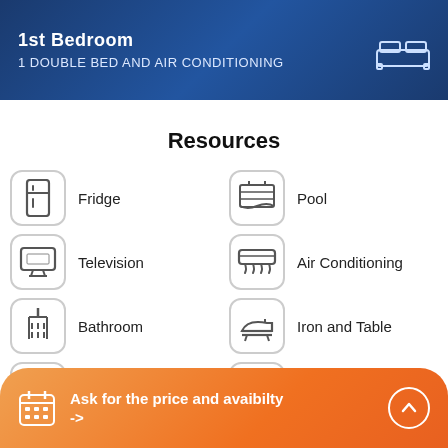1st Bedroom
1 DOUBLE BED AND AIR CONDITIONING
Resources
Fridge
Pool
Television
Air Conditioning
Bathroom
Iron and Table
Internet
Grill / BBQ
Bakery
Hair Dryer
Ask for the price and avaibilty ->